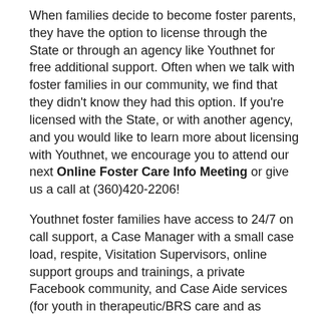When families decide to become foster parents, they have the option to license through the State or through an agency like Youthnet for free additional support. Often when we talk with foster families in our community, we find that they didn't know they had this option. If you're licensed with the State, or with another agency, and you would like to learn more about licensing with Youthnet, we encourage you to attend our next Online Foster Care Info Meeting or give us a call at (360)420-2206!
Youthnet foster families have access to 24/7 on call support, a Case Manager with a small case load, respite, Visitation Supervisors, online support groups and trainings, a private Facebook community, and Case Aide services (for youth in therapeutic/BRS care and as approved by Social Workers for youth in traditional foster care).
If you decide to move forward, here is the process for re-licensing through Youthnet:
1. Visit our Agency and complete the following...